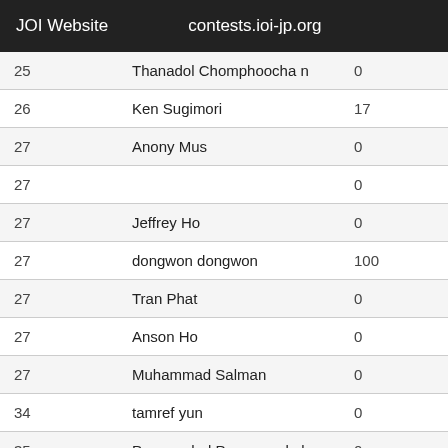JOI Website    contests.ioi-jp.org
| Rank | Name | Score |
| --- | --- | --- |
| 25 | Thanadol Chomphoocha n | 0 |
| 26 | Ken Sugimori | 17 |
| 27 | Anony Mus | 0 |
| 27 |  | 0 |
| 27 | Jeffrey Ho | 0 |
| 27 | dongwon dongwon | 100 |
| 27 | Tran Phat | 0 |
| 27 | Anson Ho | 0 |
| 27 | Muhammad Salman | 0 |
| 34 | tamref yun | 0 |
| 35 | Pongsaphol Pongsawakul | 0 |